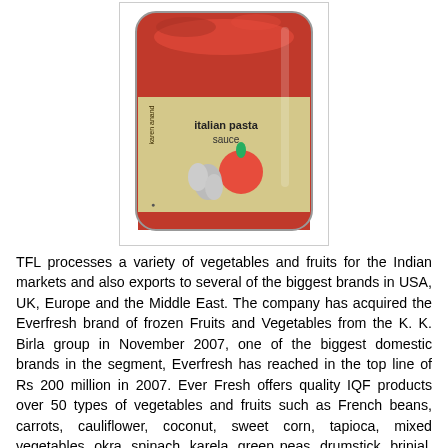[Figure (photo): A glass jar of Karen Anand Italian Pasta Sauce, with a red sauce visible inside and a label showing tomatoes and garlic imagery.]
TFL processes a variety of vegetables and fruits for the Indian markets and also exports to several of the biggest brands in USA, UK, Europe and the Middle East. The company has acquired the Everfresh brand of frozen Fruits and Vegetables from the K. K. Birla group in November 2007, one of the biggest domestic brands in the segment, Everfresh has reached in the top line of Rs 200 million in 2007. Ever Fresh offers quality IQF products over 50 types of vegetables and fruits such as French beans, carrots, cauliflower, coconut, sweet corn, tapioca, mixed vegetables, okra, spinach, karela, green peas, drumstick, brinjal, onions, Green Peas, American Sweet Corn, Baby Corn, Broccoli, Palak, Sarson ka Saag, Shredded Coconut under Delika